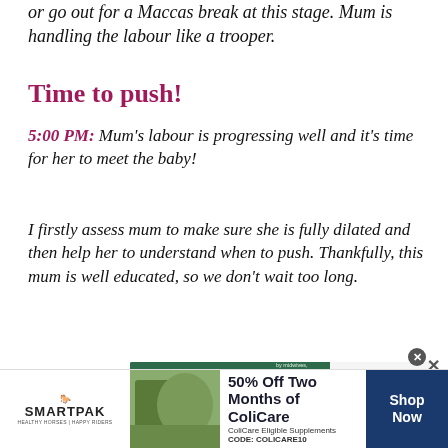or go out for a Maccas break at this stage. Mum is handling the labour like a trooper.
Time to push!
5:00 PM: Mum's labour is progressing well and it's time for her to meet the baby!
I firstly assess mum to make sure she is fully dilated and then help her to understand when to push. Thankfully, this mum is well educated, so we don't wait too long.
[Figure (infographic): The Birth Store advertisement: green banner with logo, bullet points about TENS machines, and drug-free pain relief for labour, birth & beyond]
[Figure (infographic): SmartPak advertisement: 50% Off Two Months of ColiCare, ColiCare Eligible Supplements, CODE: COLICARE10, with horse and rider image and Shop Now button]